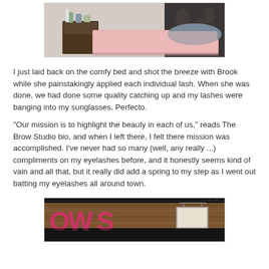[Figure (photo): Interior of a beauty salon treatment room showing a pink treatment bed/table with a bolster pillow, a dark wood nightstand with bottles and supplies on it, and decorative dark patterned wallpaper in the background.]
I just laid back on the comfy bed and shot the breeze with Brook while she painstakingly applied each individual lash. When she was done, we had done some quality catching up and my lashes were banging into my sunglasses. Perfecto.
"Our mission is to highlight the beauty in each of us," reads The Brow Studio bio, and when I left there, I felt there mission was accomplished. I've never had so many (well, any really ...) compliments on my eyelashes before, and it honestly seems kind of vain and all that, but it really did add a spring to my step as I went out batting my eyelashes all around town.
[Figure (photo): Exterior photo of The Brow Studio sign on a dark background with wooden paneling. Pink/magenta lettering visible showing partial text 'OW S' of the studio name, with a hanging sign visible to the right.]